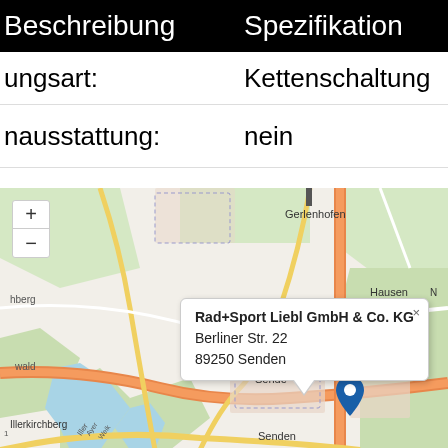Beschreibung    Spezifikation
ungsart:    Kettenschaltung
nausstattung:  nein
[Figure (map): OpenStreetMap showing location of Rad+Sport Liebl GmbH & Co. KG, Berliner Str. 22, 89250 Senden, with a blue map pin marker and a popup info box. Map shows area around Senden, with labels for Gerlenhofen, Hausen, Aufheim, Illerkirchberg, and Illerkanal/Iller river.]